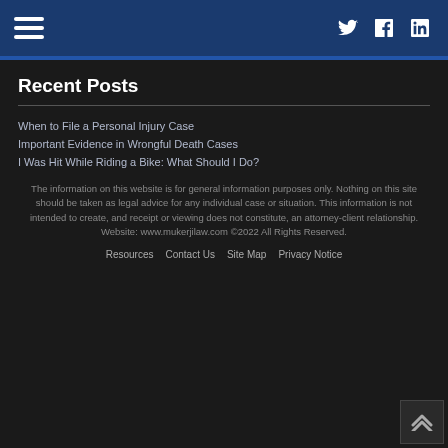Navigation bar with hamburger menu and social icons (Twitter, Facebook, LinkedIn)
Recent Posts
When to File a Personal Injury Case
Important Evidence in Wrongful Death Cases
I Was Hit While Riding a Bike: What Should I Do?
The information on this website is for general information purposes only. Nothing on this site should be taken as legal advice for any individual case or situation. This information is not intended to create, and receipt or viewing does not constitute, an attorney-client relationship. Website: www.mukerjilaw.com ©2022 All Rights Reserved.
Resources   Contact Us   Site Map   Privacy Notice